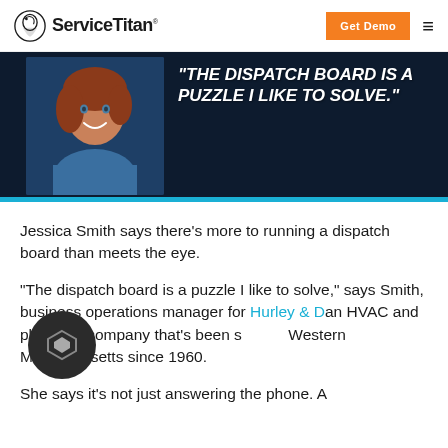ServiceTitan | Get Demo
[Figure (photo): Hero banner with a smiling woman with red hair on a dark navy background, with the quote: "THE DISPATCH BOARD IS A PUZZLE I LIKE TO SOLVE."]
Jessica Smith says there’s more to running a dispatch board than meets the eye.
“The dispatch board is a puzzle I like to solve,” says Smith, business operations manager for Hurley & D[avid], an HVAC and plumbing company that’s been s[erving] Western Massachusetts since 1960.
She says it’s not just answering the phone. A